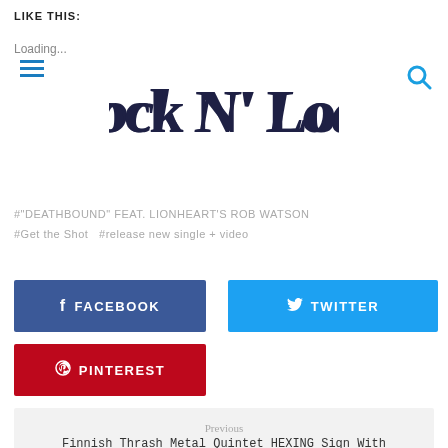LIKE THIS:
Loading...
[Figure (logo): Rock N' Load magazine logo in decorative dark serif font]
#"DEATHBOUND" FEAT. LIONHEART'S ROB WATSON
#Get the Shot   #release new single + video
f  FACEBOOK
🐦  TWITTER
⊕  PINTEREST
Previous
Finnish Thrash Metal Quintet HEXING Sign With